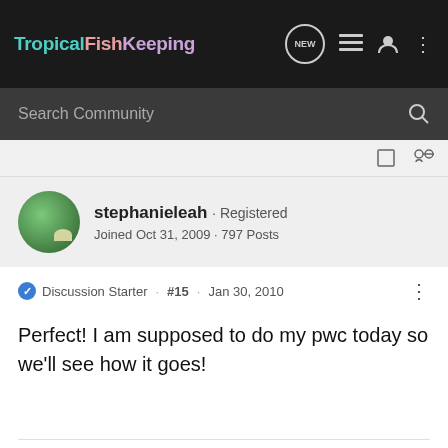TropicalFishKeeping
Search Community
stephanieleah · Registered
Joined Oct 31, 2009 · 797 Posts
Discussion Starter · #15 · Jan 30, 2010
Perfect! I am supposed to do my pwc today so we'll see how it goes!
Stephanie's updated tank profiles:
29 gallon  10 gallon